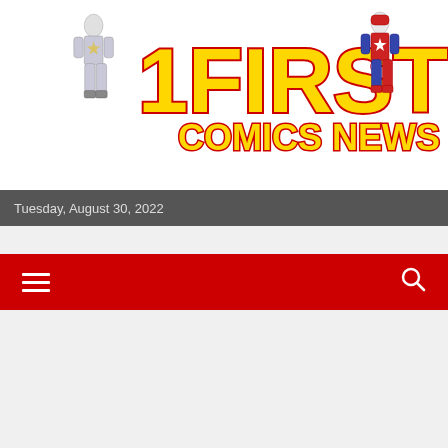[Figure (logo): First Comics News logo with two superhero figures and large yellow '1FIRST' text with red outline and 'COMICS NEWS' text below on white background]
Tuesday, August 30, 2022
[Figure (screenshot): Red navigation bar with hamburger menu icon on the left and search magnifying glass icon on the right]
[Figure (photo): Dark gray rectangular image placeholder area below navigation]